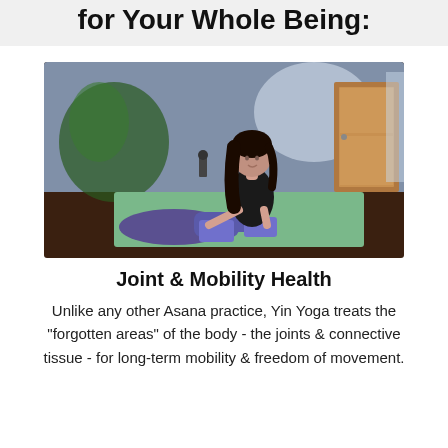for Your Whole Being:
[Figure (photo): A woman in purple yoga pants performing a yin yoga pose on a green mat in a studio, using purple yoga blocks for support. The room has blue-grey walls, a wooden floor, plants, and a wooden door in the background.]
Joint & Mobility Health
Unlike any other Asana practice, Yin Yoga treats the "forgotten areas" of the body - the joints & connective tissue - for long-term mobility & freedom of movement.